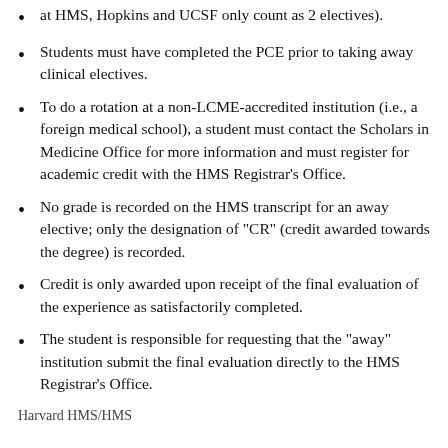at HMS, Hopkins and UCSF only count as 2 electives).
Students must have completed the PCE prior to taking away clinical electives.
To do a rotation at a non-LCME-accredited institution (i.e., a foreign medical school), a student must contact the Scholars in Medicine Office for more information and must register for academic credit with the HMS Registrar's Office.
No grade is recorded on the HMS transcript for an away elective; only the designation of "CR" (credit awarded towards the degree) is recorded.
Credit is only awarded upon receipt of the final evaluation of the experience as satisfactorily completed.
The student is responsible for requesting that the "away" institution submit the final evaluation directly to the HMS Registrar's Office.
Harvard HMS/HMS